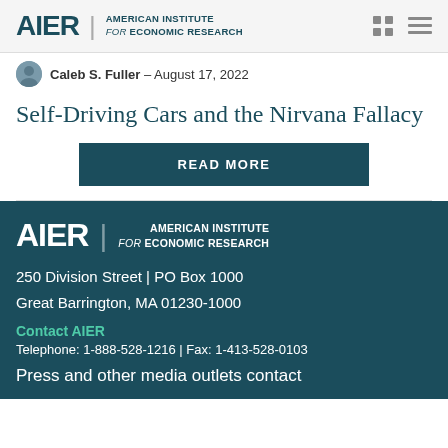AIER | AMERICAN INSTITUTE for ECONOMIC RESEARCH
Caleb S. Fuller – August 17, 2022
Self-Driving Cars and the Nirvana Fallacy
READ MORE
AIER | AMERICAN INSTITUTE for ECONOMIC RESEARCH
250 Division Street | PO Box 1000
Great Barrington, MA 01230-1000
Contact AIER
Telephone: 1-888-528-1216 | Fax: 1-413-528-0103
Press and other media outlets contact